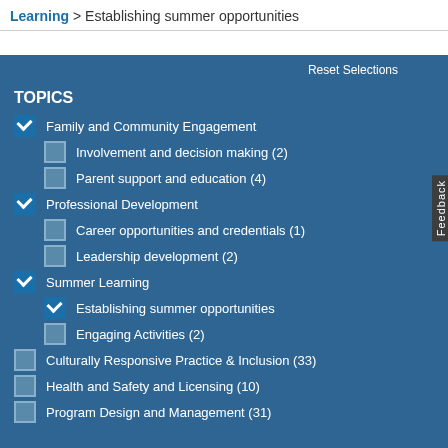Learning > Establishing summer opportunities
TOPICS
Family and Community Engagement (checked)
Involvement and decision making (2)
Parent support and education (4)
Professional Development (checked)
Career opportunities and credentials (1)
Leadership development (2)
Summer Learning (checked)
Establishing summer opportunities (checked)
Engaging Activities (2)
Culturally Responsive Practice & Inclusion (33)
Health and Safety and Licensing (10)
Program Design and Management (31)